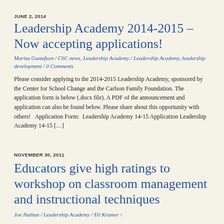JUNE 2, 2014
Leadership Academy 2014-2015 – Now accepting applications!
Marisa Gustafson / CSC news, Leadership Academy / Leadership Academy, leadership development / 0 Comments
Please consider applying to the 2014-2015 Leadership Academy, sponsored by the Center for School Change and the Carlson Family Foundation. The application form is below (.docx file). A PDF of the announcement and application can also be found below. Please share about this opportunity with others!   Application Form:  Leadership Academy 14-15 Application Leadership Academy 14-15 […]
NOVEMBER 30, 2011
Educators give high ratings to workshop on classroom management and instructional techniques
Joe Nathan / Leadership Academy / Eli Kramer /
Eli Kramer, former director of one of the Uncommon Schools in New York,